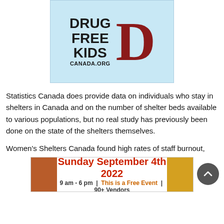[Figure (logo): Drug Free Kids Canada.org logo — light blue background with bold black text reading DRUG FREE KIDS and CANADA.ORG on the left, and a large dark red letter D on the right]
Statistics Canada does provide data on individuals who stay in shelters in Canada and on the number of shelter beds available to various populations, but no real study has previously been done on the state of the shelters themselves.
Women's Shelters Canada found high rates of staff burnout,
[Figure (infographic): Advertisement banner: Sunday September 4th 2022 | 9 am - 6 pm | This is a Free Event | 90+ Vendors, with decorative food images on left and right sides]